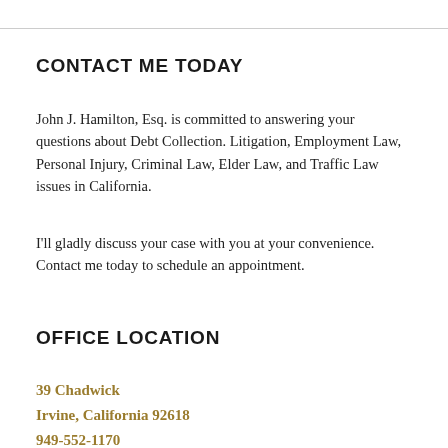CONTACT ME TODAY
John J. Hamilton, Esq. is committed to answering your questions about Debt Collection. Litigation, Employment Law, Personal Injury, Criminal Law, Elder Law, and Traffic Law issues in California.
I'll gladly discuss your case with you at your convenience. Contact me today to schedule an appointment.
OFFICE LOCATION
39 Chadwick
Irvine, California 92618
949-552-1170